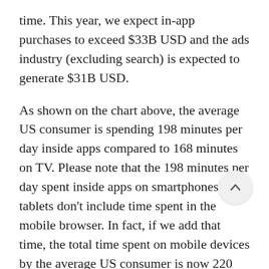time. This year, we expect in-app purchases to exceed $33B USD and the ads industry (excluding search) is expected to generate $31B USD.
As shown on the chart above, the average US consumer is spending 198 minutes per day inside apps compared to 168 minutes on TV. Please note that the 198 minutes per day spent inside apps on smartphones and tablets don't include time spent in the mobile browser. In fact, if we add that time, the total time spent on mobile devices by the average US consumer is now 220 minutes (or 3 hours and 40 minutes) per day, as we shared a couple of weeks ago.
It is hard for us to quantify how much of that time spent in apps overlaps with time spent on TV, as